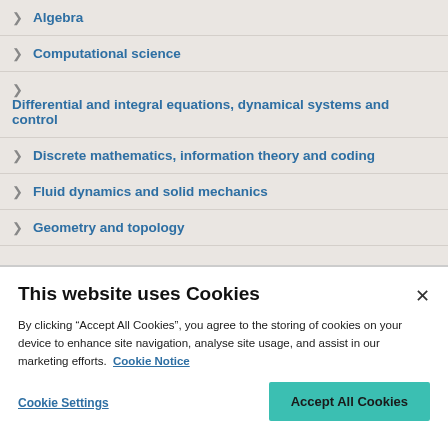Algebra
Computational science
Differential and integral equations, dynamical systems and control
Discrete mathematics, information theory and coding
Fluid dynamics and solid mechanics
Geometry and topology
This website uses Cookies
By clicking “Accept All Cookies”, you agree to the storing of cookies on your device to enhance site navigation, analyse site usage, and assist in our marketing efforts. Cookie Notice
Cookie Settings
Accept All Cookies